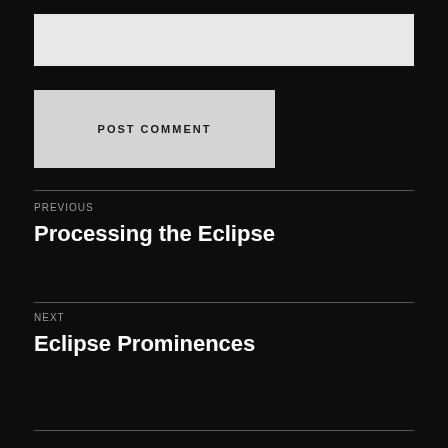[Figure (other): Input text field (comment box), light gray background]
POST COMMENT
PREVIOUS
Processing the Eclipse
NEXT
Eclipse Prominences